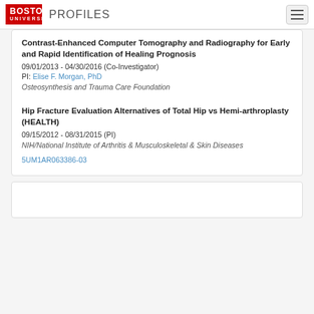BOSTON UNIVERSITY Profiles
Contrast-Enhanced Computer Tomography and Radiography for Early and Rapid Identification of Healing Prognosis
09/01/2013 - 04/30/2016 (Co-Investigator)
PI: Elise F. Morgan, PhD
Osteosynthesis and Trauma Care Foundation
Hip Fracture Evaluation Alternatives of Total Hip vs Hemi-arthroplasty (HEALTH)
09/15/2012 - 08/31/2015 (PI)
NIH/National Institute of Arthritis & Musculoskeletal & Skin Diseases
5UM1AR063386-03